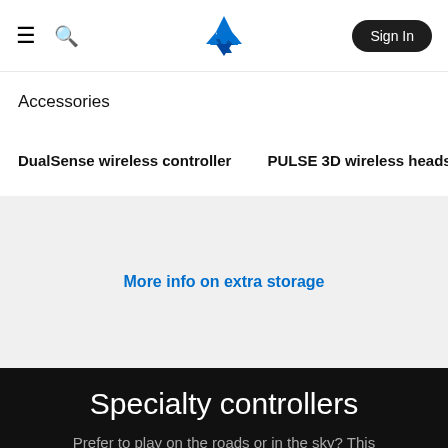≡ 🔍 PlayStation Sign In
Accessories
DualSense wireless controller   PULSE 3D wireless headset ›
More info on extra storage
Specialty controllers
Prefer to play on the roads or in the sky? This range of officially licensed controllers give you